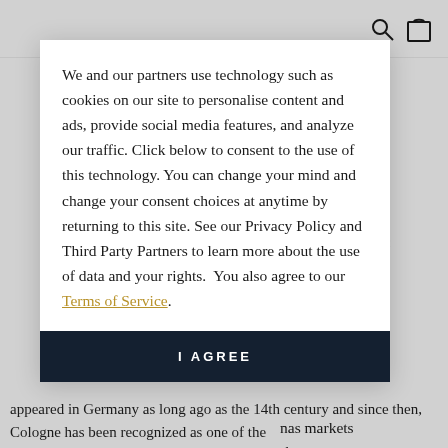We and our partners use technology such as cookies on our site to personalise content and ads, provide social media features, and analyze our traffic. Click below to consent to the use of this technology. You can change your mind and change your consent choices at anytime by returning to this site. See our Privacy Policy and Third Party Partners to learn more about the use of data and your rights.  You also agree to our Terms of Service.
I AGREE